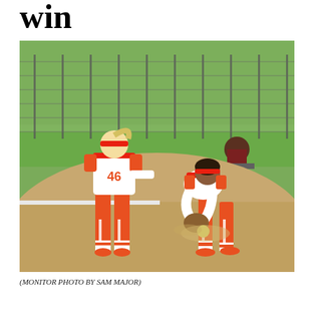win
[Figure (photo): Two softball players in red and white uniforms on a dirt infield. One player bends down to field a ground ball near second base while another stands nearby. A chain-link fence and green grass are visible in the background. A spectator sits in a chair behind the fence.]
(MONITOR PHOTO BY SAM MAJOR)